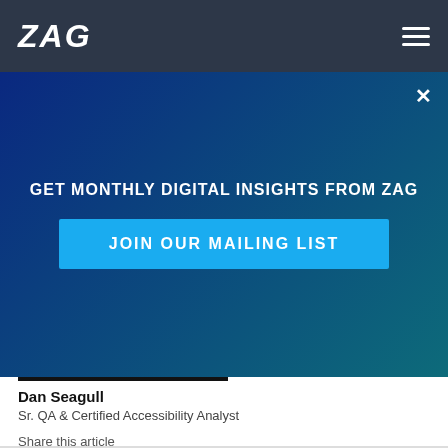ZAG
[Figure (screenshot): Modal popup with gradient blue/teal background, close button (×), headline 'GET MONTHLY DIGITAL INSIGHTS FROM ZAG', and a bright blue button 'JOIN OUR MAILING LIST']
[Figure (photo): Partial photo of a person wearing a black t-shirt with arms crossed, cropped to show torso]
Dan Seagull
Sr. QA & Certified Accessibility Analyst
Share this article
[Figure (infographic): Social media icons: Facebook (f), Twitter (bird), LinkedIn (in)]